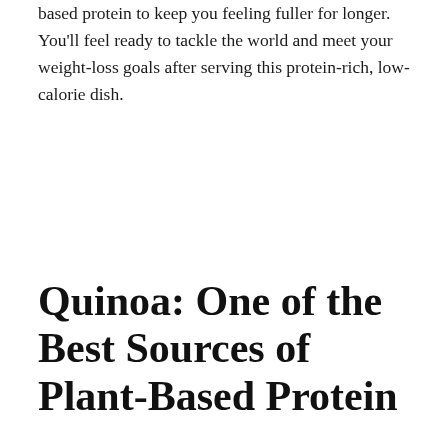based protein to keep you feeling fuller for longer. You'll feel ready to tackle the world and meet your weight-loss goals after serving this protein-rich, low-calorie dish.
Quinoa: One of the Best Sources of Plant-Based Protein